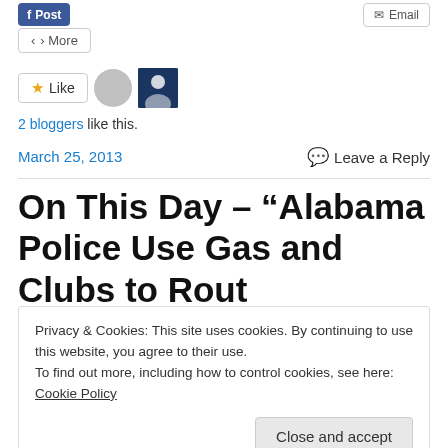[Figure (screenshot): Social share buttons: Post button (blue) and Email button at top]
More
[Figure (screenshot): Like button with star icon, user avatar placeholder and a colored user avatar]
2 bloggers like this.
March 25, 2013
Leave a Reply
On This Day – “Alabama Police Use Gas and Clubs to Rout
Privacy & Cookies: This site uses cookies. By continuing to use this website, you agree to their use.
To find out more, including how to control cookies, see here: Cookie Policy
Close and accept